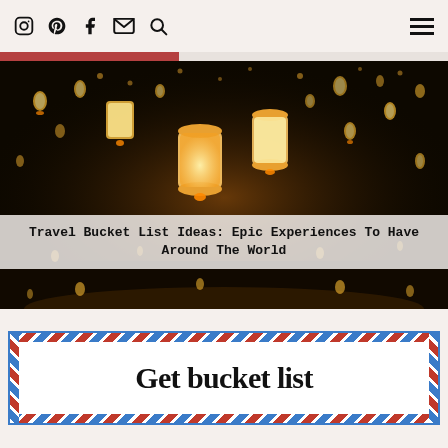Social media and navigation icons header
[Figure (photo): Night sky photo with many sky lanterns glowing orange, floating upward against a dark background. The image has a banner overlay with the article title.]
Travel Bucket List Ideas: Epic Experiences To Have Around The World
Get bucket list